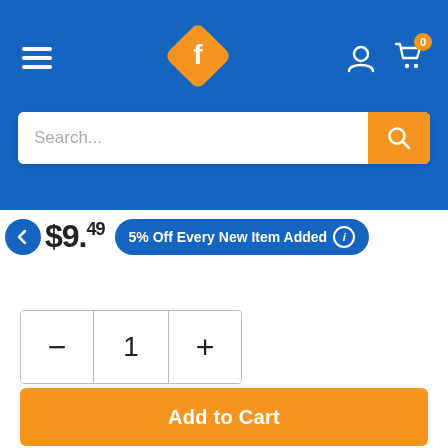[Figure (screenshot): E-commerce mobile app header with blue background, orange diamond logo with white 'f', hamburger menu, user icon, and cart icon with badge showing 0]
[Figure (screenshot): Search bar with placeholder text 'Search...' and orange search button]
$9.49  5% Off Every New Item Added
[Figure (screenshot): Quantity selector with minus, 1, plus buttons]
[Figure (screenshot): Add to Cart orange button]